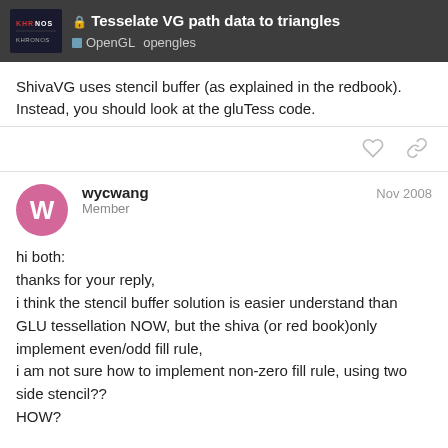Tesselate VG path data to triangles | OpenGL opengles
ShivaVG uses stencil buffer (as explained in the redbook). Instead, you should look at the gluTess code.
wycwang
Member
Nov 2008
hi both:
thanks for your reply,
i think the stencil buffer solution is easier understand than GLU tessellation NOW, but the shiva (or red book)only implement even/odd fill rule,
i am not sure how to implement non-zero fill rule, using two side stencil??
HOW?

by the way, does google map use svg-t 1.1??